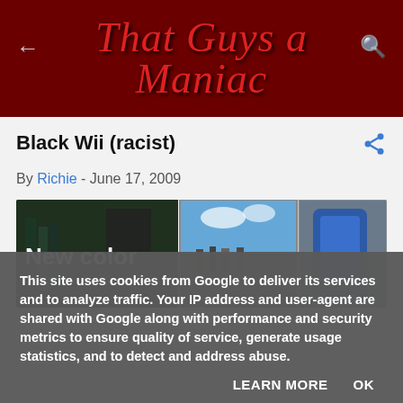That Guys a Maniac
Black Wii (racist)
By Richie - June 17, 2009
[Figure (photo): Image collage showing 'New color' text overlay on left panel, a fantasy game scene in center, and a blue device on right]
This site uses cookies from Google to deliver its services and to analyze traffic. Your IP address and user-agent are shared with Google along with performance and security metrics to ensure quality of service, generate usage statistics, and to detect and address abuse.
LEARN MORE    OK